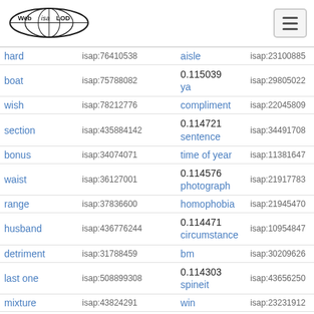Web isa LOD [logo] [hamburger menu]
| word | isap id | score / word2 | isap id2 |
| --- | --- | --- | --- |
| hard | isap:76410538 | aisle | isap:23100885 |
| boat | isap:75788082 | 0.115039 ya | isap:29805022 |
| wish | isap:78212776 | compliment | isap:22045809 |
| section | isap:435884142 | 0.114721 sentence | isap:34491708 |
| bonus | isap:34074071 | time of year | isap:11381647 |
| waist | isap:36127001 | 0.114576 photograph | isap:21917783 |
| range | isap:37836600 | homophobia | isap:21945470 |
| husband | isap:436776244 | 0.114471 circumstance | isap:10954847 |
| detriment | isap:31788459 | bm | isap:30209626 |
| last one | isap:508899308 | 0.114303 spineit | isap:43656250 |
| mixture | isap:43824291 | win | isap:23231912 |